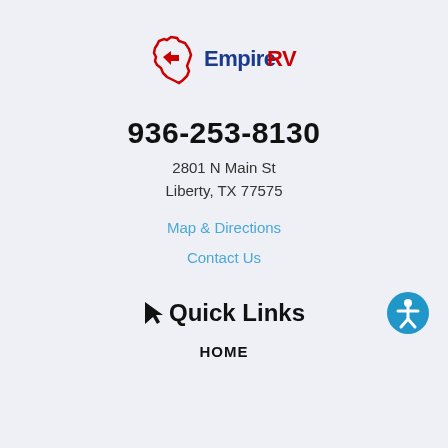[Figure (logo): Empire RV logo with red Texas state outline and blue/red text reading Empire RV]
936-253-8130
2801 N Main St
Liberty, TX 77575
Map & Directions
Contact Us
Quick Links
HOME